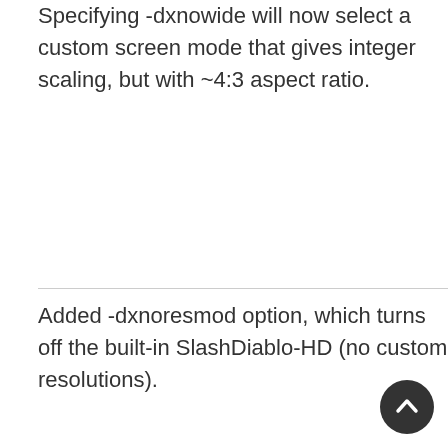Specifying -dxnowide will now select a custom screen mode that gives integer scaling, but with ~4:3 aspect ratio.
Added -dxnoresmod option, which turns off the built-in SlashDiablo-HD (no custom resolutions).
(For res mod authors) Tuned configurator API to disable the built-in SlashDiablo-HD automatically when used.